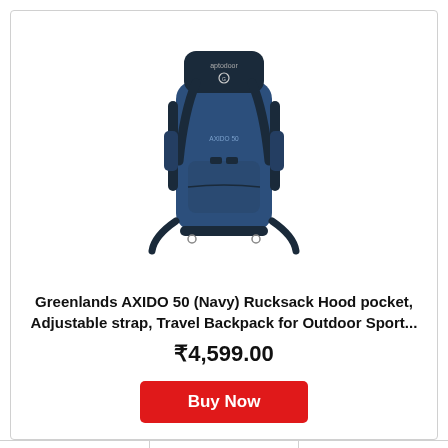[Figure (photo): Navy blue Greenlands AXIDO 50 rucksack backpack with black accents, hood pocket, adjustable straps, and side pockets]
Greenlands AXIDO 50 (Navy) Rucksack Hood pocket, Adjustable strap, Travel Backpack for Outdoor Sport...
₹4,599.00
Buy Now